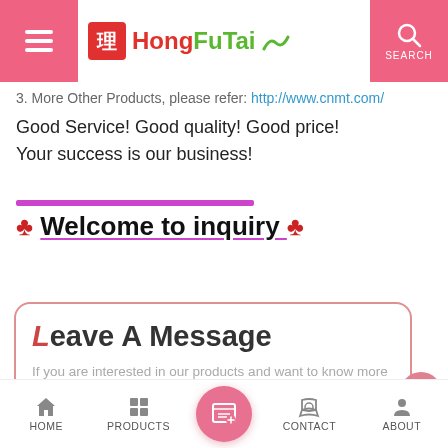HongFuTai — SEARCH
3. More Other Products, please refer: http://www.cnmt.com/
Good Service! Good quality! Good price!
Your success is our business!
♣ Welcome to inquiry ♣
Leave A Message
If you are interested in our products and want to know more details,please leave a message here,we will reply you as soon as we can.
HOME  PRODUCTS  CONTACT  ABOUT